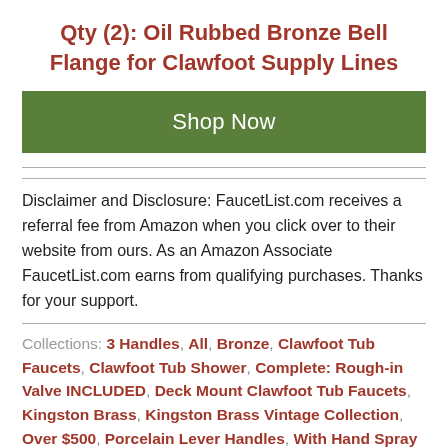Qty (2): Oil Rubbed Bronze Bell Flange for Clawfoot Supply Lines
Shop Now
Disclaimer and Disclosure: FaucetList.com receives a referral fee from Amazon when you click over to their website from ours. As an Amazon Associate FaucetList.com earns from qualifying purchases. Thanks for your support.
Collections: 3 Handles, All, Bronze, Clawfoot Tub Faucets, Clawfoot Tub Shower, Complete: Rough-in Valve INCLUDED, Deck Mount Clawfoot Tub Faucets, Kingston Brass, Kingston Brass Vintage Collection, Over $500, Porcelain Lever Handles, With Hand Spray